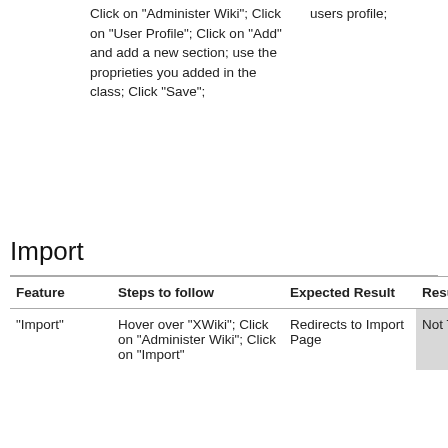|  | Click on "Administer Wiki"; Click on "User Profile"; Click on "Add" and add a new section; use the proprieties you added in the class; Click "Save"; | users profile; |  |
Import
| Feature | Steps to follow | Expected Result | Result | JIRA |
| --- | --- | --- | --- | --- |
| "Import" | Hover over "XWiki"; Click on "Administer Wiki"; Click on "Import" | Redirects to Import Page | Not Tested | - |